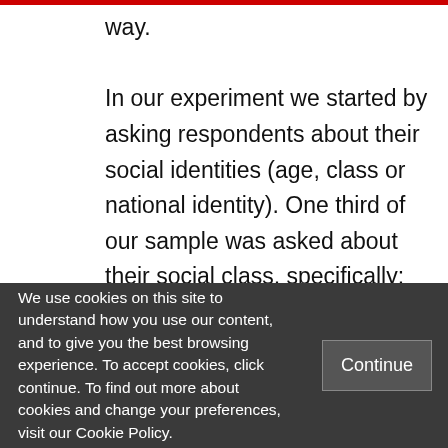way.

In our experiment we started by asking respondents about their social identities (age, class or national identity). One third of our sample was asked about their social class, specifically: 'Most people think of themselves as either working class or middle class. What do you think of yourself as?'. Another third were asked whether they
We use cookies on this site to understand how you use our content, and to give you the best browsing experience. To accept cookies, click continue. To find out more about cookies and change your preferences, visit our Cookie Policy.